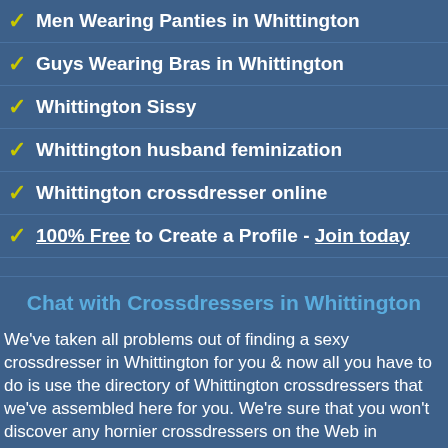Men Wearing Panties in Whittington
Guys Wearing Bras in Whittington
Whittington Sissy
Whittington husband feminization
Whittington crossdresser online
100% Free to Create a Profile - Join today
Chat with Crossdressers in Whittington
We've taken all problems out of finding a sexy crossdresser in Whittington for you & now all you have to do is use the directory of Whittington crossdressers that we've assembled here for you. We're sure that you won't discover any hornier crossdressers on the Web in Whittington so step inside & use our completely free directory to discover those sexy crossdressers that you crave. You can be flirting with the crossdressers we've got listed on Crossdresser Chat City in just a few seconds so don't waste anymore time hunting for those elim...